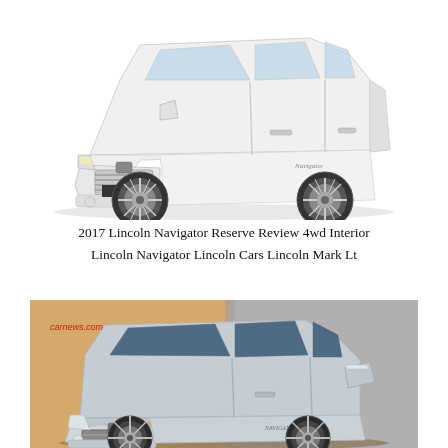[Figure (photo): White 2017 Lincoln Navigator SUV, front three-quarter view on white background, showing chrome grille, large wheels, and Navigator badge]
2017 Lincoln Navigator Reserve Review 4wd Interior Lincoln Navigator Lincoln Cars Lincoln Mark Lt
[Figure (photo): Silver/grey Lincoln Navigator SUV, front three-quarter view against a warm-toned background with concrete wall, watermark reading 'carnews.com' in red in upper-left area]